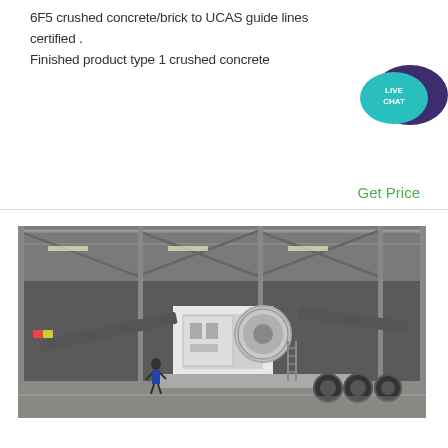6F5 crushed concrete/brick to UCAS guide lines certified . Finished product type 1 crushed concrete
[Figure (other): Live Chat button widget — teal speech bubble with 'LIVE CHAT' text and dark purple speech bubble behind]
Get Price
[Figure (photo): Large industrial mobile jaw crusher machine displayed inside a warehouse/factory hall with steel truss roof structure. The machine is white and grey, mounted on heavy wheels, with conveyor belts extended on both sides. A person stands near it for scale.]